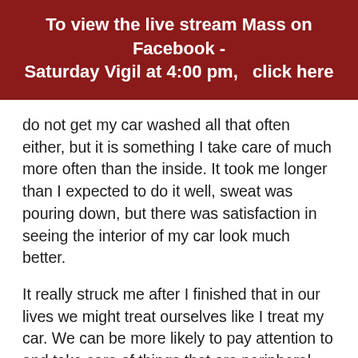To view the live stream Mass on Facebook - Saturday Vigil at 4:00 pm,  click here
do not get my car washed all that often either, but it is something I take care of much more often than the inside. It took me longer than I expected to do it well, sweat was pouring down, but there was satisfaction in seeing the interior of my car look much better.
It really struck me after I finished that in our lives we might treat ourselves like I treat my car. We can be more likely to pay attention to and take care of things that are peripheral, those which we feel are more urgent than taking care of what is really going on inside of us. We let noise, busy-ness, and activity keep us living on the surface, all the time, when what we need...